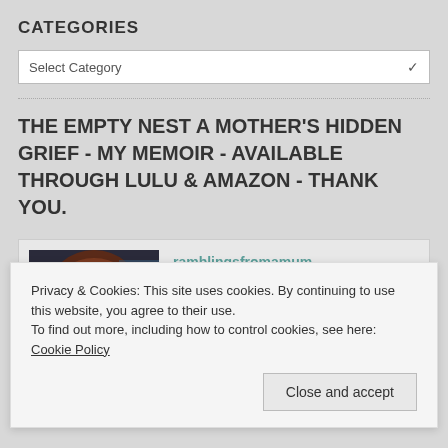CATEGORIES
Select Category
THE EMPTY NEST A MOTHER'S HIDDEN GRIEF - MY MEMOIR - AVAILABLE THROUGH LULU & AMAZON - THANK YOU.
[Figure (photo): Profile photo of a woman with short brown hair, and text link 'ramblingsfromamum' beside the photo]
Privacy & Cookies: This site uses cookies. By continuing to use this website, you agree to their use.
To find out more, including how to control cookies, see here: Cookie Policy
Close and accept